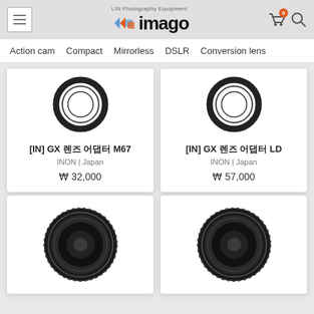imago - LIN Photography Equipment - Action cam | Compact | Mirrorless | DSLR | Conversion lens
[Figure (screenshot): Product listing page for imago photography equipment store showing lens adapters]
[IN] GX 렌즈 어댑터 M67
INON | Japan
₩ 32,000
[IN] GX 렌즈 어댑터 LD
INON | Japan
₩ 57,000